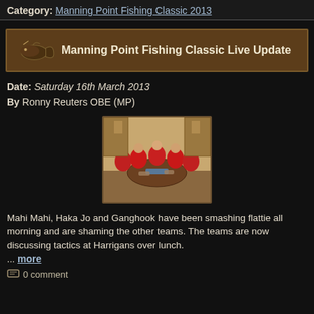Category: Manning Point Fishing Classic 2013
Manning Point Fishing Classic Live Update
Date: Saturday 16th March 2013
By Ronny Reuters OBE (MP)
[Figure (photo): Group of people in red jackets sitting around a table at Harrigans, discussing tactics over lunch]
Mahi Mahi, Haka Jo and Ganghook have been smashing flattie all morning and are shaming the other teams. The teams are now discussing tactics at Harrigans over lunch.
... more
0 comment